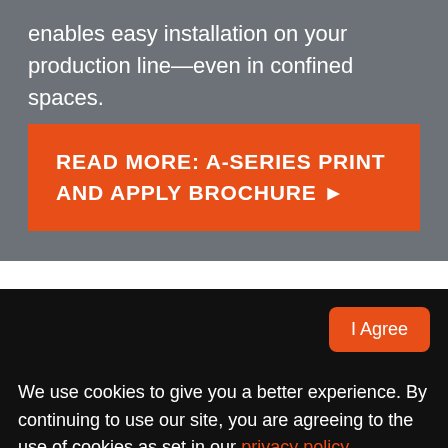enables easy installation on your production line—even in confined spaces.
READ MORE: A-SERIES PRINT AND APPLY BROCHURE ▶
I Agree
We use cookies to give you a better experience. By continuing to use our site, you are agreeing to the use of cookies as set in our privacy policy.